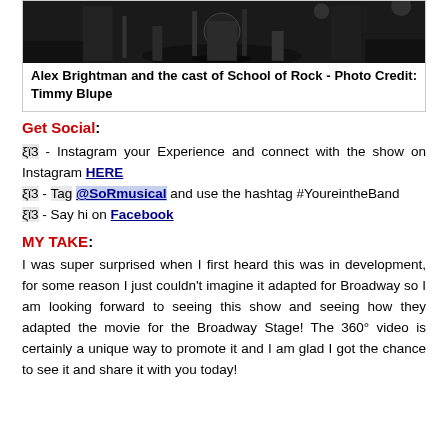[Figure (photo): Stage photo of Alex Brightman and cast of School of Rock, performers on stage in dark lighting]
Alex Brightman and the cast of School of Rock - Photo Credit: Timmy Blupe
Get Social:
🎸 - Instagram your Experience and connect with the show on Instagram HERE
🎸 - Tag @SoRmusical and use the hashtag #YoureintheBand
🎸 - Say hi on Facebook
MY TAKE:
I was super surprised when I first heard this was in development, for some reason I just couldn't imagine it adapted for Broadway so I am looking forward to seeing this show and seeing how they adapted the movie for the Broadway Stage! The 360° video is certainly a unique way to promote it and I am glad I got the chance to see it and share it with you today!